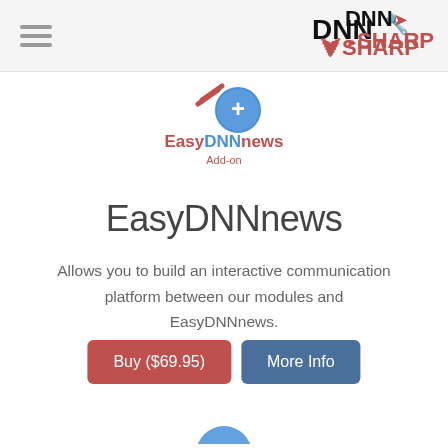[Figure (logo): DNN Sharp logo in top right of navigation bar]
[Figure (logo): EasyDNNnews Add-on logo with red slash and blue circle with plus sign]
EasyDNNnews
Allows you to build an interactive communication platform between our modules and EasyDNNnews.
Buy ($69.95)
More Info
[Figure (logo): Partial EasyDNNnews logo visible at bottom of page]